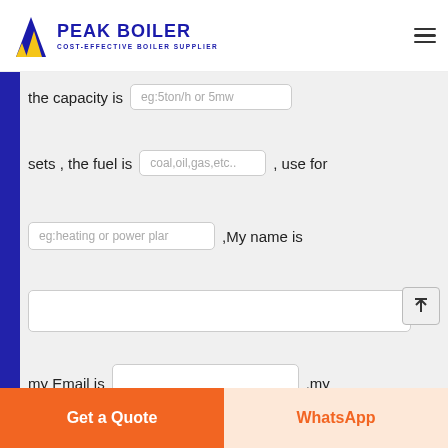[Figure (logo): Peak Boiler logo with blue flame icon and text 'PEAK BOILER / COST-EFFECTIVE BOILER SUPPLIER']
the capacity is
sets , the fuel is
, use for
,My name is
,
my Email is
,my